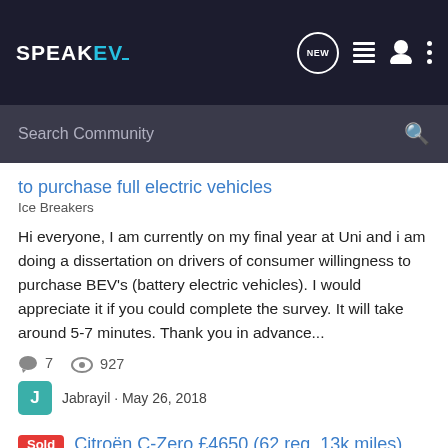SPEAK EV — navigation bar with logo, NEW button, list icon, user icon, dots menu
Search Community
to purchase full electric vehicles
Ice Breakers
Hi everyone, I am currently on my final year at Uni and i am doing a dissertation on drivers of consumer willingness to purchase BEV's (battery electric vehicles). I would appreciate it if you could complete the survey. It will take around 5-7 minutes. Thank you in advance...
7 comments · 927 views
Jabrayil · May 26, 2018
bev
drivers
economics of ev ownership
electric car
hybrid
Sold  Citroën C-Zero £4650 (62 reg, 13k miles)
Electric Vehicle Classifieds